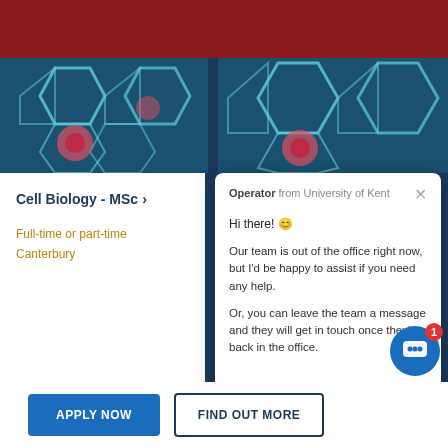[Figure (screenshot): Dark red top navigation bar of University of Kent website]
[Figure (photo): Microscopic image of cells with teal and pink colors, left panel]
[Figure (photo): Microscopic image of cells with teal and pink colors, right panel]
Cell Biology - MSc
Full-time or part-time
Canterbury
Operator from University of Kent
Hi there! 😊
Our team is out of the office right now, but I'd be happy to assist if you need any help.
Or, you can leave the team a message and they will get in touch once they're back in the office.
[Figure (photo): Microscopic cross-section of plant stem showing circular cell structures in purple and white]
[Figure (photo): Abstract orange and yellow radial burst image]
APPLY NOW
FIND OUT MORE